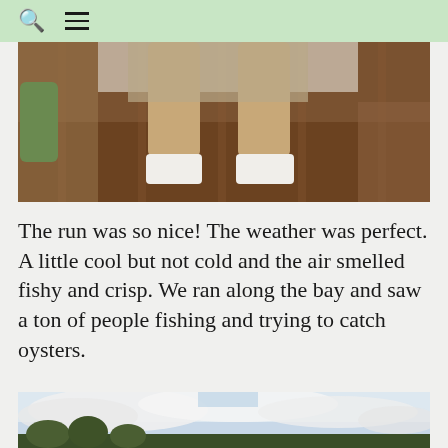Search and menu navigation icons
[Figure (photo): Close-up photo of a person's legs from the knee down, wearing white socks, standing on a dark wood floor. A green bag is visible on the left side.]
The run was so nice! The weather was perfect. A little cool but not cold and the air smelled fishy and crisp. We ran along the bay and saw a ton of people fishing and trying to catch oysters.
[Figure (photo): Outdoor photo showing a cloudy sky with white clouds, blue sky, and dark tree silhouettes at the bottom.]